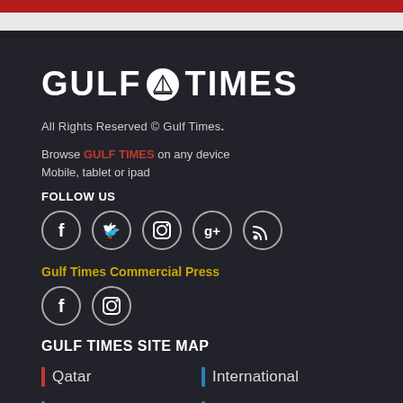[Figure (logo): Gulf Times logo with sailboat icon between GULF and TIMES in white bold text on dark background]
All Rights Reserved © Gulf Times.
Browse GULF TIMES on any device Mobile, tablet or ipad
FOLLOW US
[Figure (infographic): Five social media icons in circles: Facebook, Twitter, Instagram, Google+, RSS]
Gulf Times Commercial Press
[Figure (infographic): Two social media icons in circles: Facebook, Instagram]
GULF TIMES SITE MAP
Qatar
International
Region
Business
Sport
Opinion